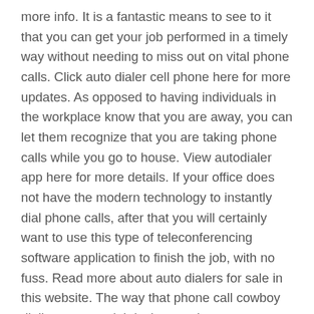more info. It is a fantastic means to see to it that you can get your job performed in a timely way without needing to miss out on vital phone calls. Click auto dialer cell phone here for more updates. As opposed to having individuals in the workplace know that you are away, you can let them recognize that you are taking phone calls while you go to house. View autodialer app here for more details. If your office does not have the modern technology to instantly dial phone calls, after that you will certainly want to use this type of teleconferencing software application to finish the job, with no fuss. Read more about auto dialers for sale in this website. The way that phone call cowboy dialing systems job is that you have an account with the software program that will enable you to produce and also store phone call. Learn more about auto dialing phones in this homepage. This is wonderful due to the fact that it allows you to have several phone numbers that you have actually set to your auto dialer. View more about autodial phone in this page. It additionally enables you to do things like